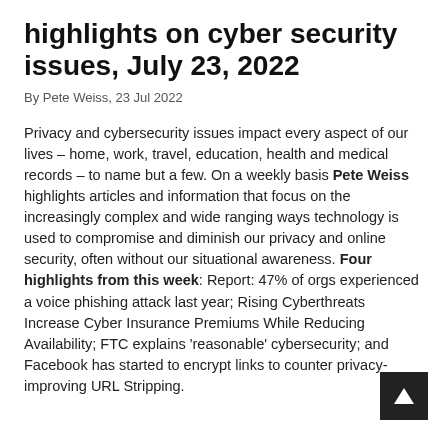highlights on cyber security issues, July 23, 2022
By Pete Weiss, 23 Jul 2022
Privacy and cybersecurity issues impact every aspect of our lives – home, work, travel, education, health and medical records – to name but a few. On a weekly basis Pete Weiss highlights articles and information that focus on the increasingly complex and wide ranging ways technology is used to compromise and diminish our privacy and online security, often without our situational awareness. Four highlights from this week: Report: 47% of orgs experienced a voice phishing attack last year; Rising Cyberthreats Increase Cyber Insurance Premiums While Reducing Availability; FTC explains 'reasonable' cybersecurity; and Facebook has started to encrypt links to counter privacy-improving URL Stripping.